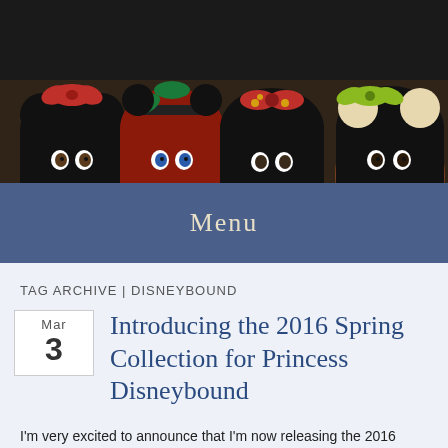[Figure (photo): Photo of several Disney fashion dolls wearing Minnie Mouse ear headbands with bows in various colors (red, green, black), showing just the tops of their heads and faces.]
Menu
TAG ARCHIVE | DISNEYBOUND
Introducing the 2016 Spring Collection for Princess Disneybound
I'm very excited to announce that I'm now releasing the 2016 Spring Collection for Princess Disneybound! (For 11.5" fashion dolls.)